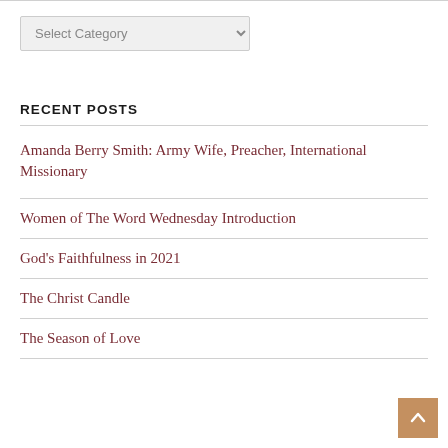Select Category
RECENT POSTS
Amanda Berry Smith: Army Wife, Preacher, International Missionary
Women of The Word Wednesday Introduction
God's Faithfulness in 2021
The Christ Candle
The Season of Love